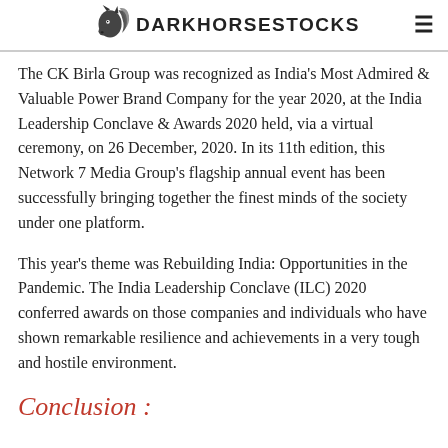DARKHORSESTOCKS
The CK Birla Group was recognized as India's Most Admired & Valuable Power Brand Company for the year 2020, at the India Leadership Conclave & Awards 2020 held, via a virtual ceremony, on 26 December, 2020. In its 11th edition, this Network 7 Media Group's flagship annual event has been successfully bringing together the finest minds of the society under one platform.
This year's theme was Rebuilding India: Opportunities in the Pandemic. The India Leadership Conclave (ILC) 2020 conferred awards on those companies and individuals who have shown remarkable resilience and achievements in a very tough and hostile environment.
Conclusion :